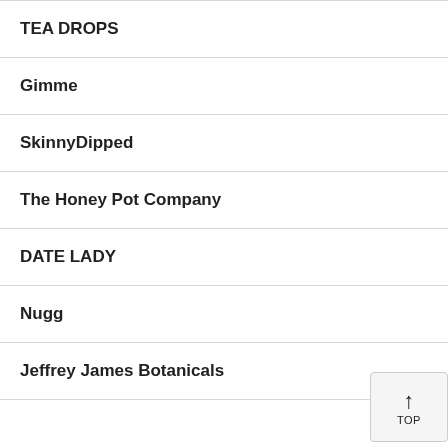TEA DROPS
Gimme
SkinnyDipped
The Honey Pot Company
DATE LADY
Nugg
Jeffrey James Botanicals